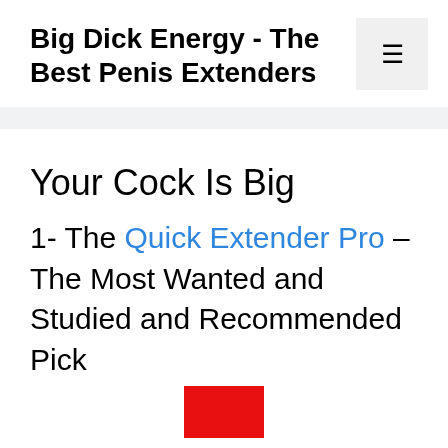Big Dick Energy - The Best Penis Extenders
Your Cock Is Big
1- The Quick Extender Pro – The Most Wanted and Studied and Recommended Pick
[Figure (other): Red rectangle image placeholder at bottom of page]